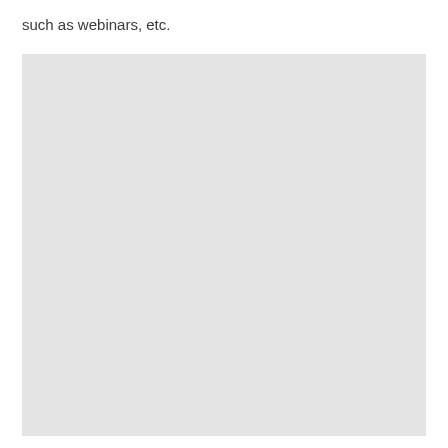such as webinars, etc.
[Figure (other): A large light grey rectangular placeholder image occupying most of the lower portion of the page.]